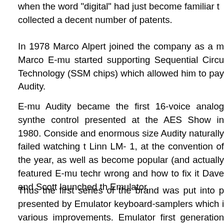when the word "digital" had just become familiar to collected a decent number of patents.
In 1978 Marco Alpert joined the company as a m Marco E-mu started supporting Sequential Circu Technology (SSM chips) which allowed him to pay Audity.
E-mu Audity became the first 16-voice analog synthe control presented at the AES Show in 1980. Conside and enormous size Audity naturally failed watching t Linn LM- 1, at the convention of the year, as well as become popular (and actually featured E-mu techr wrong and how to fix it Dave and Scott launched th Emulator.
Thus the first series of the brand was put into p presented by Emulator keyboard-samplers which i various improvements. Emulator first generation Fairlight CMI in 3 times - $10000) included the poss